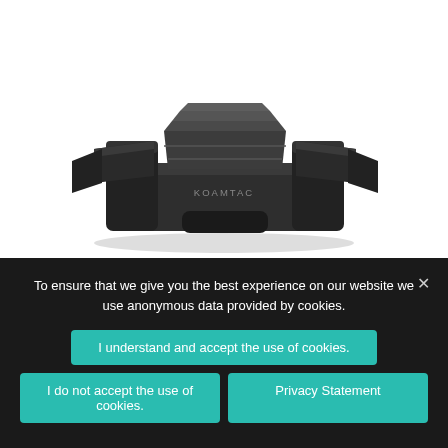[Figure (photo): Photo of a KOAMTAC multi-slot charging dock/cradle device, black with gray accents, view from slightly above the front, showing the KOAMTAC logo on the front face.]
To ensure that we give you the best experience on our website we use anonymous data provided by cookies.
I understand and accept the use of cookies.
I do not accept the use of cookies.
Privacy Statement